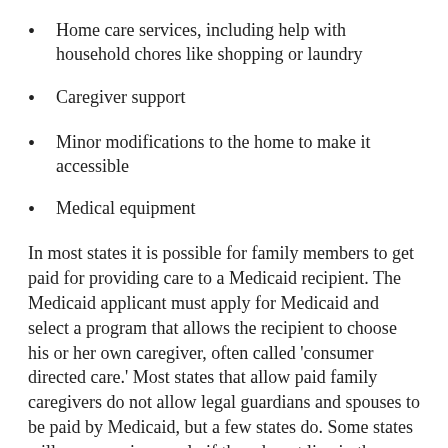Home care services, including help with household chores like shopping or laundry
Caregiver support
Minor modifications to the home to make it accessible
Medical equipment
In most states it is possible for family members to get paid for providing care to a Medicaid recipient. The Medicaid applicant must apply for Medicaid and select a program that allows the recipient to choose his or her own caregiver, often called 'consumer directed care.' Most states that allow paid family caregivers do not allow legal guardians and spouses to be paid by Medicaid, but a few states do. Some states will pay caregivers only if they do not live in the same house as the Medicaid recipient.